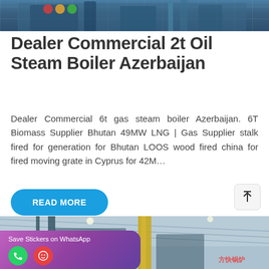[Figure (photo): Top portion of industrial boiler equipment in a factory setting, blue/teal color scheme]
Dealer Commercial 2t Oil Steam Boiler Azerbaijan
Dealer Commercial 6t gas steam boiler Azerbaijan. 6T Biomass Supplier Bhutan 49MW LNG | Gas Supplier stalk fired for generation for Bhutan LOOS wood fired china for fired moving grate in Cyprus for 42M…
READ MORE
[Figure (photo): Industrial factory interior with steel structures, yellow column, and company branding overlay with WhatsApp sticker prompt]
MAIL   ADVISORY   OFFER